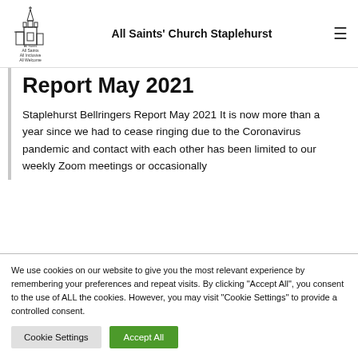[Figure (logo): All Saints Church Staplehurst logo — line drawing of a church tower with text 'All Saints All Inclusive All Welcome']
All Saints' Church Staplehurst
Report May 2021
Staplehurst Bellringers Report May 2021 It is now more than a year since we had to cease ringing due to the Coronavirus pandemic and contact with each other has been limited to our weekly Zoom meetings or occasionally
We use cookies on our website to give you the most relevant experience by remembering your preferences and repeat visits. By clicking "Accept All", you consent to the use of ALL the cookies. However, you may visit "Cookie Settings" to provide a controlled consent.